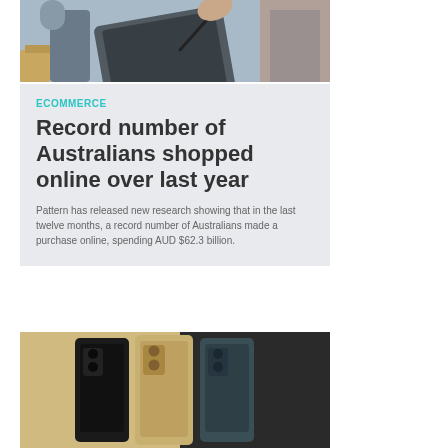[Figure (photo): Person using a stylus on a tablet device, with boxes in the background suggesting a delivery or ecommerce context]
ECOMMERCE
Record number of Australians shopped online over last year
Pattern has released new research showing that in the last twelve months, a record number of Australians made a purchase online, spending AUD $62.3 billion.
[Figure (photo): Three Samsung Galaxy Z Fold smartphones shown from the back in three color variants: black, gold/beige, and teal/dark green]